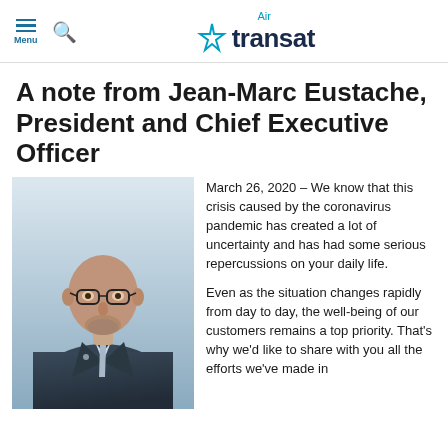Air transat (logo with navigation)
A note from Jean-Marc Eustache, President and Chief Executive Officer
[Figure (photo): Portrait photo of Jean-Marc Eustache, an older bald man with glasses and a short beard wearing a dark suit with a light blue tie]
March 26, 2020 – We know that this crisis caused by the coronavirus pandemic has created a lot of uncertainty and has had some serious repercussions on your daily life.
Even as the situation changes rapidly from day to day, the well-being of our customers remains a top priority. That's why we'd like to share with you all the efforts we've made in